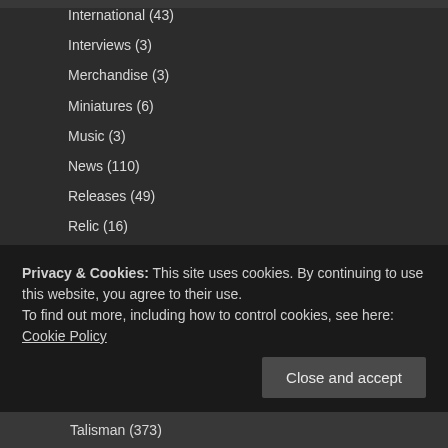International (43)
Interviews (3)
Merchandise (3)
Miniatures (6)
Music (3)
News (110)
Releases (49)
Relic (16)
Halls of Terra (6)
Nemesis (1)
Premium Edition (1)
Standard Edition (1)
Sale (7)
Site Updates (5)
Social Feed (1)
Privacy & Cookies: This site uses cookies. By continuing to use this website, you agree to their use. To find out more, including how to control cookies, see here: Cookie Policy
Talisman (373)